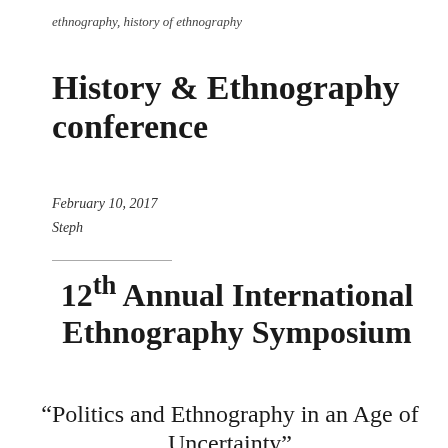ethnography, history of ethnography
History & Ethnography conference
February 10, 2017
Steph
12th Annual International Ethnography Symposium
“Politics and Ethnography in an Age of Uncertainty”